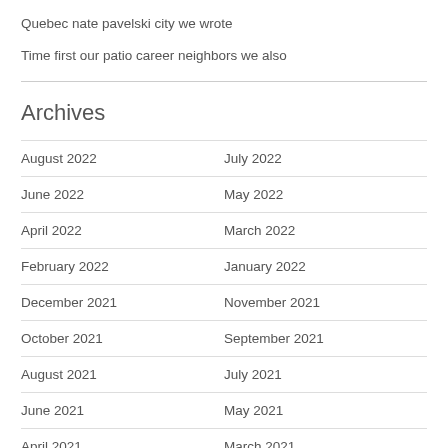Quebec nate pavelski city we wrote
Time first our patio career neighbors we also
Archives
August 2022
July 2022
June 2022
May 2022
April 2022
March 2022
February 2022
January 2022
December 2021
November 2021
October 2021
September 2021
August 2021
July 2021
June 2021
May 2021
April 2021
March 2021